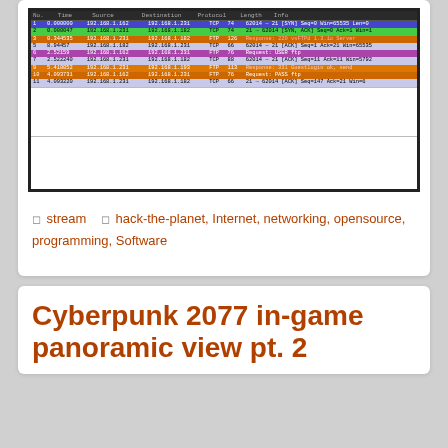[Figure (screenshot): Wireshark network packet capture screenshot showing TCP packets between 192.168.1.162, 192.168.1.231, and 192.168.1.182 with colored rows indicating different packet types/states, detail pane and hex pane below]
stream   hack-the-planet, Internet, networking, opensource, programming, Software
Cyberpunk 2077 in-game panoramic view pt. 2